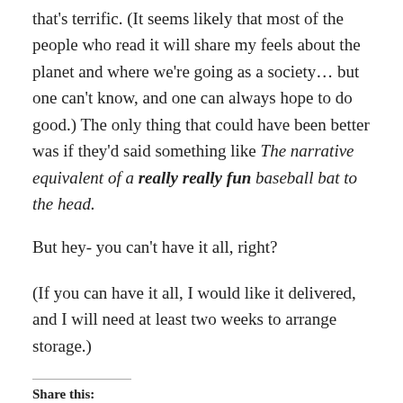that's terrific. (It seems likely that most of the people who read it will share my feels about the planet and where we're going as a society… but one can't know, and one can always hope to do good.) The only thing that could have been better was if they'd said something like The narrative equivalent of a really really fun baseball bat to the head.
But hey- you can't have it all, right?
(If you can have it all, I would like it delivered, and I will need at least two weeks to arrange storage.)
Share this: